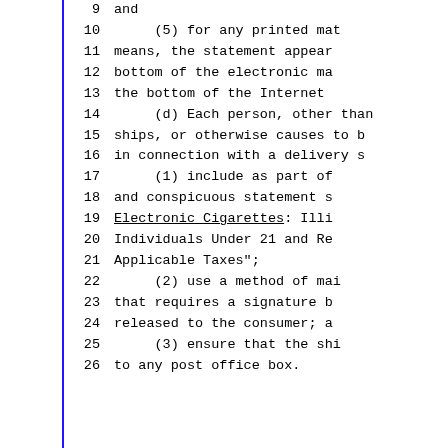9     and
10        (5) for any printed mat
11     means, the statement appear
12     bottom of the electronic ma
13     the bottom of the Internet
14        (d) Each person, other than
15     ships, or otherwise causes to b
16     in connection with a delivery s
17        (1) include as part of
18     and conspicuous statement s
19     Electronic Cigarettes: Illi
20     Individuals Under 21 and Re
21     Applicable Taxes";
22        (2) use a method of mai
23     that requires a signature b
24     released to the consumer; a
25        (3) ensure that the shi
26     to any post office box.